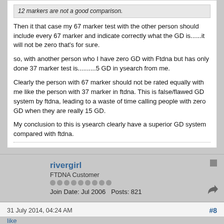12 markers are not a good comparison.
Then it that case my 67 marker test with the other person should include every 67 marker and indicate correctly what the GD is......it will not be zero that's for sure.
so, with another person who I have zero GD with Ftdna but has only done 37 marker test is..........5 GD in ysearch from me.
Clearly the person with 67 marker should not be rated equally with me like the person with 37 marker in ftdna. This is false/flawed GD system by ftdna, leading to a waste of time calling people with zero GD when they are really 15 GD.
My conclusion to this is ysearch clearly have a superior GD system compared with ftdna.
rivergirl
FTDNA Customer
Join Date: Jul 2006   Posts: 821
31 July 2014, 04:24 AM
#8